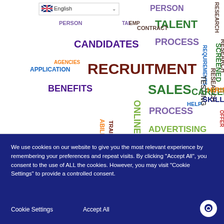[Figure (infographic): Recruitment word cloud with terms like RECRUITMENT (large, dark red), SALES (green), CANDIDATES (dark purple), TALENT (dark green), PROCESS (purple), CAREER (dark green), ADVERTISING (olive), HIRING (olive), SKILLS (dark blue), BENEFITS (purple), ONLINE (olive, vertical), APPLICATION, AGENCIES, PERSON, CONTRACT, SCREENING (vertical), TESTING (vertical), RESEARCH (vertical), ORGANIZATIONS (vertical), OFFER (vertical), WEBSITES (vertical), TRAINING (vertical), ABILITY (vertical), HELP, etc. in various colors and sizes on a white background.]
We use cookies on our website to give you the most relevant experience by remembering your preferences and repeat visits. By clicking “Accept All”, you consent to the use of ALL the cookies. However, you may visit "Cookie Settings" to provide a controlled consent.
Cookie Settings
Accept All